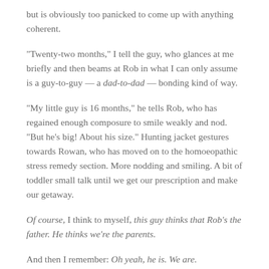but is obviously too panicked to come up with anything coherent.
“Twenty-two months,” I tell the guy, who glances at me briefly and then beams at Rob in what I can only assume is a guy-to-guy — a dad-to-dad — bonding kind of way.
“My little guy is 16 months,” he tells Rob, who has regained enough composure to smile weakly and nod. “But he’s big! About his size.” Hunting jacket gestures towards Rowan, who has moved on to the homoeopathic stress remedy section. More nodding and smiling. A bit of toddler small talk until we get our prescription and make our getaway.
Of course, I think to myself, this guy thinks that Rob’s the father. He thinks we’re the parents.
And then I remember: Oh yeah, he is. We are.